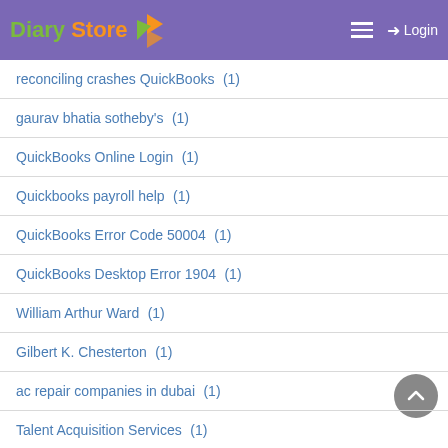Diary Store — Login
reconciling crashes QuickBooks (1)
gaurav bhatia sotheby's (1)
QuickBooks Online Login (1)
Quickbooks payroll help (1)
QuickBooks Error Code 50004 (1)
QuickBooks Desktop Error 1904 (1)
William Arthur Ward (1)
Gilbert K. Chesterton (1)
ac repair companies in dubai (1)
Talent Acquisition Services (1)
QuickBooks Desktop Error 6094 (2)
VIDEO (2)